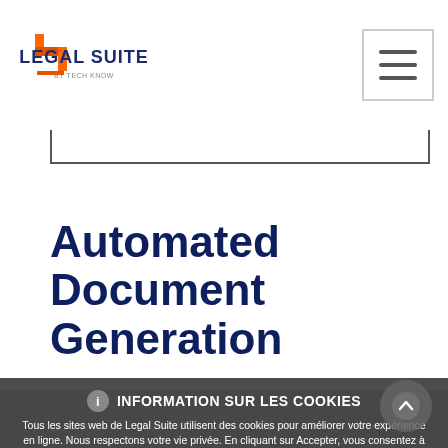[Figure (logo): Legal Suite logo - orange/red stylized 'S' icon with 'LEGAL SUITE by TECH KNOW' text below]
[Figure (screenshot): Hamburger menu button (three horizontal lines) in a bordered box]
(search bar area)
Automated Document Generation
From Data Storage to Intelligent Information Management
INFORMATION SUR LES COOKIES
Tous les sites web de Legal Suite utilisent des cookies pour améliorer votre expérience en ligne. Nous respectons votre vie privée. En cliquant sur Accepter, vous consentez à ce que les cookies soient utilisés pour faire fonctionner et améliorer nos services ainsi qu'à des fins publicitaires. Si vous ne souhaitez pas que nous utilisions ces informations, vous pouvez modifier les paramètres des cookies dans votre navigateur. Pour en savoir plus sur les cookies que nous utilisons, cliquez ci-dessous sur Plus de